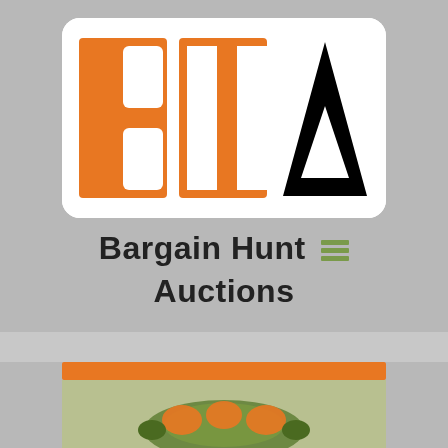[Figure (logo): BHA logo - orange B and H letters with black A on white rounded rectangle background]
Bargain Hunt Auctions
[Figure (infographic): Social media icons: Facebook, Twitter, Instagram, rendered as grey circles with white icons]
[Figure (photo): Orange horizontal bar followed by partial image of a green and orange decorative object at bottom of page]